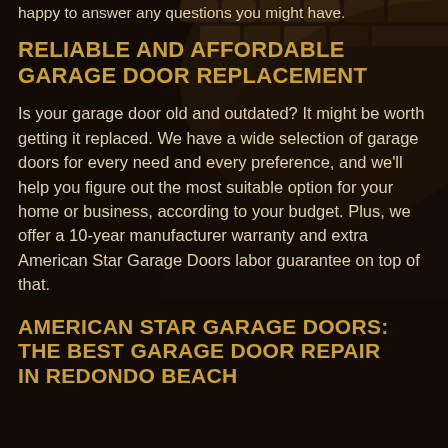happy to answer any questions you might have.
RELIABLE AND AFFORDABLE GARAGE DOOR REPLACEMENT
Is your garage door old and outdated? It might be worth getting it replaced. We have a wide selection of garage doors for every need and every preference, and we'll help you figure out the most suitable option for your home or business, according to your budget. Plus, we offer a 10-year manufacturer warranty and extra American Star Garage Doors labor guarantee on top of that.
AMERICAN STAR GARAGE DOORS: THE BEST GARAGE DOOR REPAIR IN REDONDO BEACH